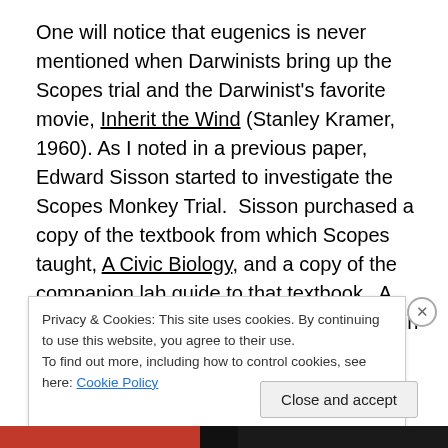One will notice that eugenics is never mentioned when Darwinists bring up the Scopes trial and the Darwinist's favorite movie, Inherit the Wind (Stanley Kramer, 1960). As I noted in a previous paper, Edward Sisson started to investigate the Scopes Monkey Trial.  Sisson purchased a copy of the textbook from which Scopes taught, A Civic Biology, and a copy of the companion lab guide to that textbook.  A Civic Biology and the lab book both contain sections on eugenics introduced by the statement that “the science of being well born is called eugenics.”  Harvard
Privacy & Cookies: This site uses cookies. By continuing to use this website, you agree to their use.
To find out more, including how to control cookies, see here: Cookie Policy
Close and accept